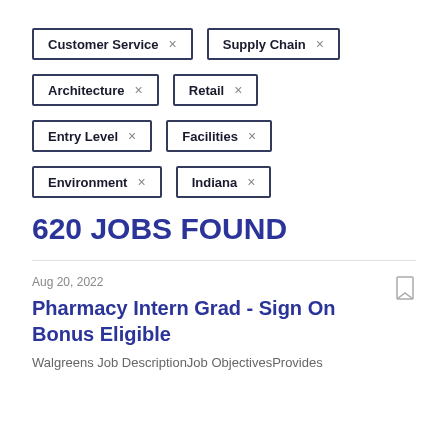Customer Service ×
Supply Chain ×
Architecture ×
Retail ×
Entry Level ×
Facilities ×
Environment ×
Indiana ×
620 JOBS FOUND
Aug 20, 2022
Pharmacy Intern Grad - Sign On Bonus Eligible
Walgreens Job DescriptionJob ObjectivesProvides